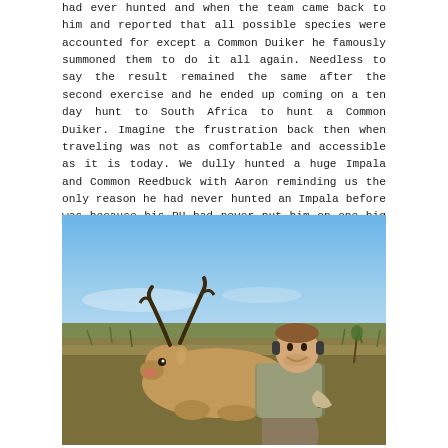had ever hunted and when the team came back to him and reported that all possible species were accounted for except a Common Duiker he famously summoned them to do it all again. Needless to say the result remained the same after the second exercise and he ended up coming on a ten day hunt to South Africa to hunt a Common Duiker. Imagine the frustration back then when traveling was not as comfortable and accessible as it is today. We dully hunted a huge Impala and Common Reedbuck with Aaron reminding us the only reason he had never hunted an Impala before was because his PH had never put him on one big enough!
[Figure (photo): A hunter posing with a harvested Common Reedbuck antelope on an open grassy plain in South Africa. The man is sitting behind the animal which has curved horns. The background shows open grassland and a blue sky.]